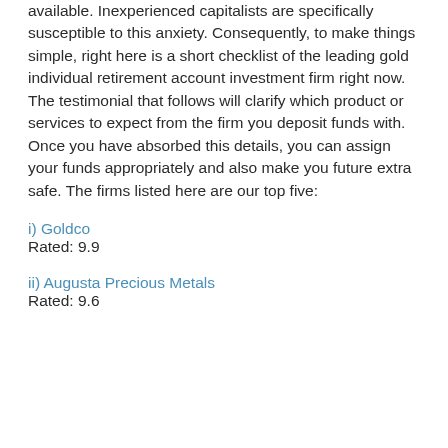available. Inexperienced capitalists are specifically susceptible to this anxiety. Consequently, to make things simple, right here is a short checklist of the leading gold individual retirement account investment firm right now. The testimonial that follows will clarify which product or services to expect from the firm you deposit funds with. Once you have absorbed this details, you can assign your funds appropriately and also make you future extra safe. The firms listed here are our top five:
i) Goldco
Rated: 9.9
ii) Augusta Precious Metals
Rated: 9.6